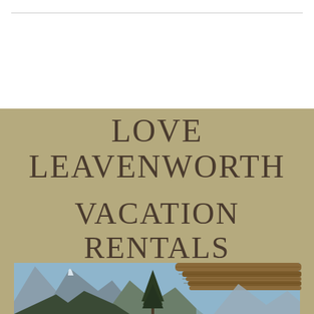LOVE LEAVENWORTH VACATION RENTALS
[Figure (photo): Outdoor mountain landscape photo showing a rocky mountain peak, a tall evergreen tree, and the underside of a wooden log structure/overhang in the foreground, with blue sky visible.]